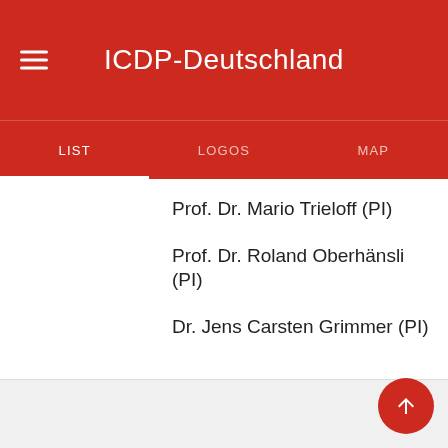ICDP-Deutschland
LIST
LOGOS
MAP
Prof. Dr. Mario Trieloff (PI)
Prof. Dr. Roland Oberhänsli (PI)
Dr. Jens Carsten Grimmer (PI)
ADDITIONAL INFORMATION